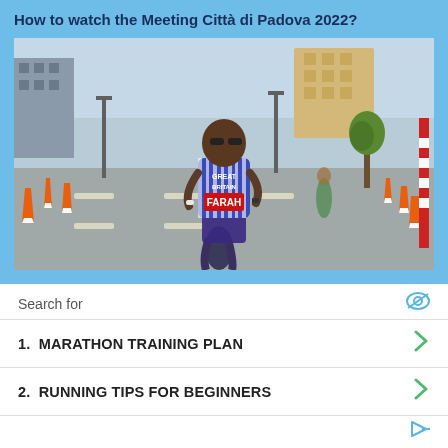How to watch the Meeting Città di Padova 2022?
[Figure (photo): A runner wearing a Great Britain jersey with bib number reading FARAH runs down a closed urban road lined with orange traffic cones and barriers, with buildings in the background.]
Search for
1. MARATHON TRAINING PLAN
2. RUNNING TIPS FOR BEGINNERS